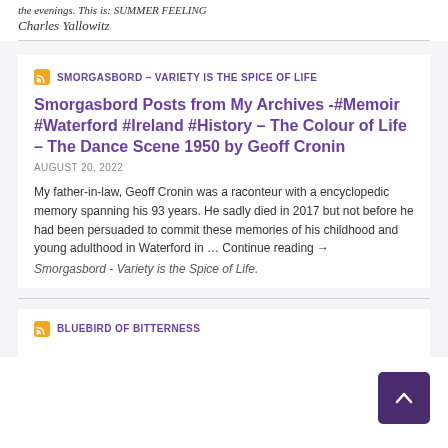the evenings. This is: SUMMER FEELING
Charles Yallowitz
SMORGASBORD – VARIETY IS THE SPICE OF LIFE
Smorgasbord Posts from My Archives -#Memoir #Waterford #Ireland #History – The Colour of Life – The Dance Scene 1950 by Geoff Cronin
AUGUST 20, 2022
My father-in-law, Geoff Cronin was a raconteur with a encyclopedic memory spanning his 93 years. He sadly died in 2017 but not before he had been persuaded to commit these memories of his childhood and young adulthood in Waterford in … Continue reading →
Smorgasbord - Variety is the Spice of Life.
BLUEBIRD OF BITTERNESS